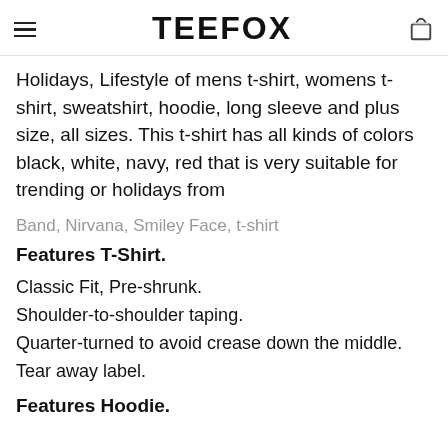TEEFOX
Holidays, Lifestyle of mens t-shirt, womens t-shirt, sweatshirt, hoodie, long sleeve and plus size, all sizes. This t-shirt has all kinds of colors black, white, navy, red that is very suitable for trending or holidays from
Band, Nirvana, Smiley Face, t-shirt
Features T-Shirt.
Classic Fit, Pre-shrunk.
Shoulder-to-shoulder taping.
Quarter-turned to avoid crease down the middle.
Tear away label.
Features Hoodie.